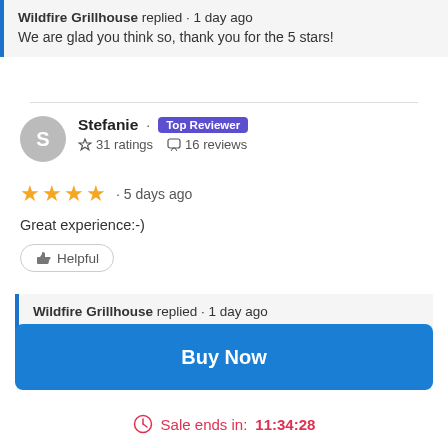Wildfire Grillhouse replied · 1 day ago
We are glad you think so, thank you for the 5 stars!
Stefanie · Top Reviewer
☆ 31 ratings  ☐ 16 reviews
★★★★ · 5 days ago
Great experience:-)
Helpful
Wildfire Grillhouse replied · 1 day ago
Thank you, we pride ourselves on giving great service along with great food and are happy to hear that's the experience you had.
Buy Now
Sale ends in: 11:34:28